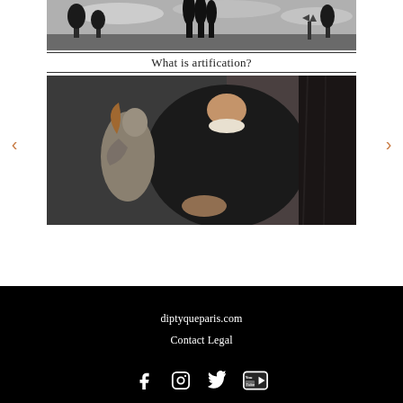[Figure (photo): Black and white landscape photo showing trees and sky, Tuscany-like countryside]
What is artification?
[Figure (photo): Classical painting of a figure in dark clothing with a sculptural figure in the background]
< (left navigation arrow)
> (right navigation arrow)
diptyqueparis.com  Contact Legal  [Facebook] [Instagram] [Twitter] [YouTube]